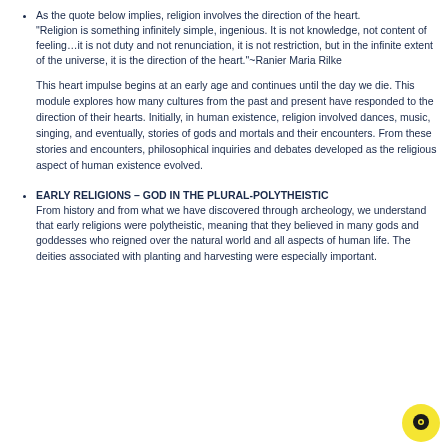As the quote below implies, religion involves the direction of the heart. "Religion is something infinitely simple, ingenious. It is not knowledge, not content of feeling…it is not duty and not renunciation, it is not restriction, but in the infinite extent of the universe, it is the direction of the heart."~Ranier Maria Rilke
This heart impulse begins at an early age and continues until the day we die. This module explores how many cultures from the past and present have responded to the direction of their hearts. Initially, in human existence, religion involved dances, music, singing, and eventually, stories of gods and mortals and their encounters. From these stories and encounters, philosophical inquiries and debates developed as the religious aspect of human existence evolved.
EARLY RELIGIONS – GOD IN THE PLURAL-POLYTHEISTIC From history and from what we have discovered through archeology, we understand that early religions were polytheistic, meaning that they believed in many gods and goddesses who reigned over the natural world and all aspects of human life. The deities associated with planting and harvesting were especially important.